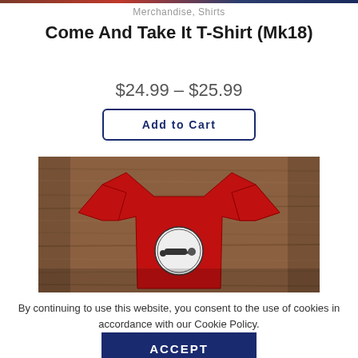Merchandise, Shirts
Come And Take It T-Shirt (Mk18)
$24.99 – $25.99
Add to Cart
[Figure (photo): Red Come And Take It T-Shirt laid flat on a wooden surface, showing a circular logo graphic on the front]
By continuing to use this website, you consent to the use of cookies in accordance with our Cookie Policy.
ACCEPT